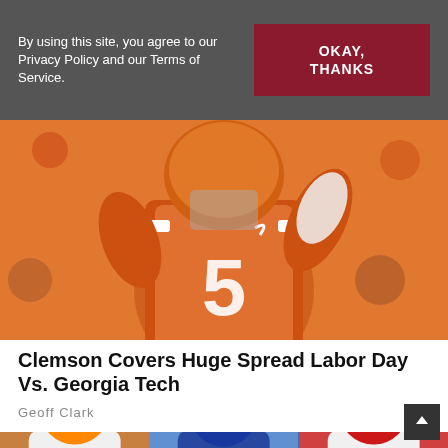By using this site, you agree to our Privacy Policy and our Terms of Service.
OKAY, THANKS
[Figure (photo): Football player wearing orange jersey number 5, mid-action throw or run, crowd in background]
Clemson Covers Huge Spread Labor Day Vs. Georgia Tech
Geoff Clark
[Figure (photo): Three college football player thumbnails: Tennessee player in white jersey, Kentucky player number 7 in blue jersey, Georgia player number 13 in red jersey]